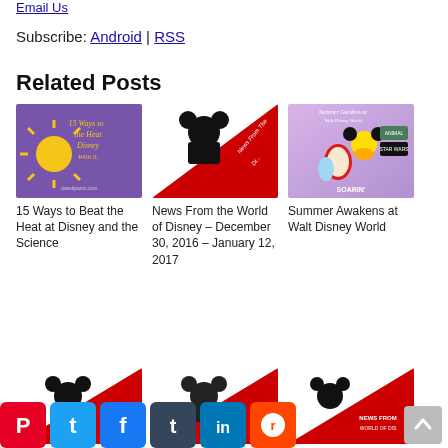Subscribe: Android | RSS
Related Posts
[Figure (photo): Podcast thumbnail: purple background with yellow sun, text '15 Ways to the Heat Disney With S...' and 'doesntpanic.com']
15 Ways to Beat the Heat at Disney and the Science
[Figure (photo): Podcast thumbnail: black Mickey Mouse camera icon on red/black diagonal background, text 'News From The Di...']
News From the World of Disney – December 30, 2016 – January 12, 2017
[Figure (photo): Podcast thumbnail: Mickey Mouse, Elsa, and other Disney characters on purple background, 'Summer Gardens at Walt Disney World', logos for Animal Kingdom, Star Wars, Soarin']
Summer Awakens at Walt Disney World
[Figure (photo): Partially visible thumbnail row 2 left: black Mickey camera icon]
[Figure (photo): Partially visible thumbnail row 2 center: black Mickey camera icon on red diagonal]
[Figure (photo): Partially visible thumbnail row 2 right: black Mickey camera icon, text 'NEWS FROM WORLD OF DIS']
[Figure (infographic): Social sharing bar with icons: Pinterest (red), Twitter (light blue), Facebook (blue), Tumblr (dark blue), LinkedIn (blue), Reddit (orange)]